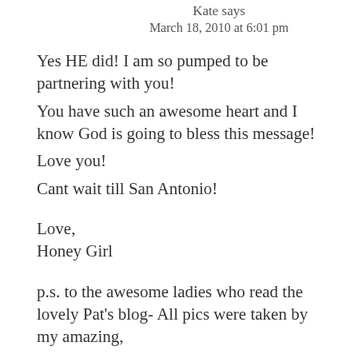Kate says
March 18, 2010 at 6:01 pm
Yes HE did! I am so pumped to be partnering with you!
You have such an awesome heart and I know God is going to bless this message!
Love you!
Cant wait till San Antonio!

Love,
Honey Girl

p.s. to the awesome ladies who read the lovely Pat's blog- All pics were taken by my amazing,